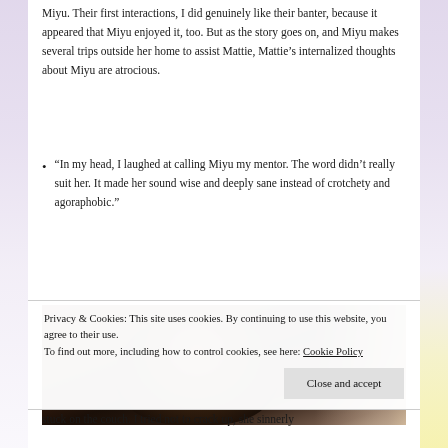Miyu. Their first interactions, I did genuinely like their banter, because it appeared that Miyu enjoyed it, too. But as the story goes on, and Miyu makes several trips outside her home to assist Mattie, Mattie’s internalized thoughts about Miyu are atrocious.
“In my head, I laughed at calling Miyu my mentor. The word didn’t really suit her. It made her sound wise and deeply sane instead of crotchety and agoraphobic.”
[Figure (photo): A Black woman looking at the camera with a serious expression, in what appears to be a kitchen setting. Another person is partially visible on the right edge.]
Privacy & Cookies: This site uses cookies. By continuing to use this website, you agree to their use.
To find out more, including how to control cookies, see here: Cookie Policy
Close and accept
stuck on the couch. I tried not to crack up, she sinnerly